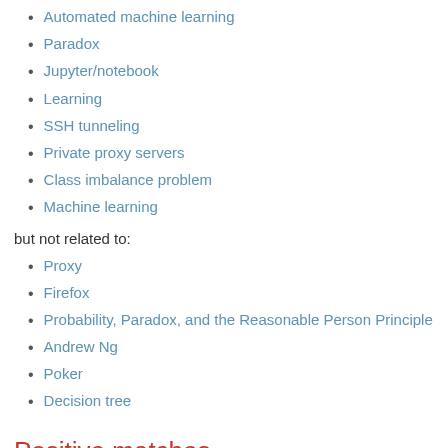Automated machine learning
Paradox
Jupyter/notebook
Learning
SSH tunneling
Private proxy servers
Class imbalance problem
Machine learning
but not related to:
Proxy
Firefox
Probability, Paradox, and the Reasonable Person Principle
Andrew Ng
Poker
Decision tree
Positive matches
► • [input] + - Class imbalance